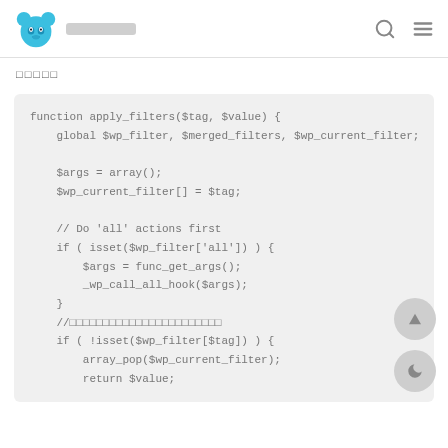[logo: bear icon] [site name blurred] [search icon] [menu icon]
□□□□□
[Figure (screenshot): PHP code block showing function apply_filters($tag, $value) with global variables, array initialization, $wp_current_filter assignment, a comment and if block for 'all' actions using func_get_args and _wp_call_all_hook, a comment in Japanese, and an if block for !isset($wp_filter[$tag]) with array_pop and return $value]